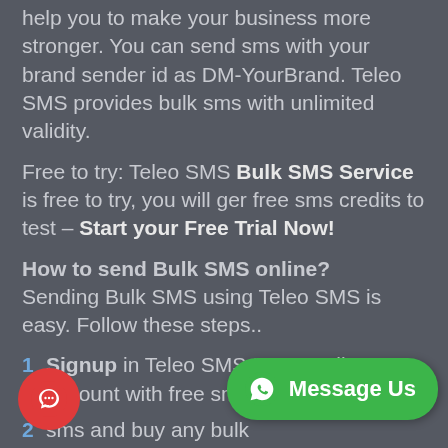help you to make your business more stronger. You can send sms with your brand sender id as DM-YourBrand. Teleo SMS provides bulk sms with unlimited validity.
Free to try: Teleo SMS Bulk SMS Service is free to try, you will ger free sms credits to test – Start your Free Trial Now!
How to send Bulk SMS online?
Sending Bulk SMS using Teleo SMS is easy. Follow these steps..
1 Signup in Teleo SMS to get Bulk SMS account with free sms credits.
2 [text partially obscured] sms and buy any bulk [obscured] Rs.[obscured]
[Figure (other): Green WhatsApp 'Message Us' button in bottom right]
[Figure (other): Red circular chat button in bottom left]